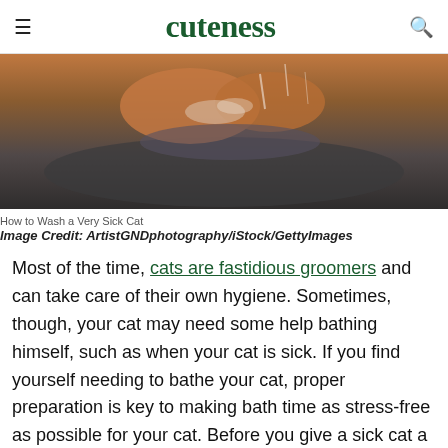cuteness
[Figure (photo): Close-up photo of hands washing something in a sink with water splashing]
How to Wash a Very Sick Cat
Image Credit: ArtistGNDphotography/iStock/GettyImages
Most of the time, cats are fastidious groomers and can take care of their own hygiene. Sometimes, though, your cat may need some help bathing himself, such as when your cat is sick. If you find yourself needing to bathe your cat, proper preparation is key to making bath time as stress-free as possible for your cat. Before you give a sick cat a bath, consult with your veterinarian. They can...